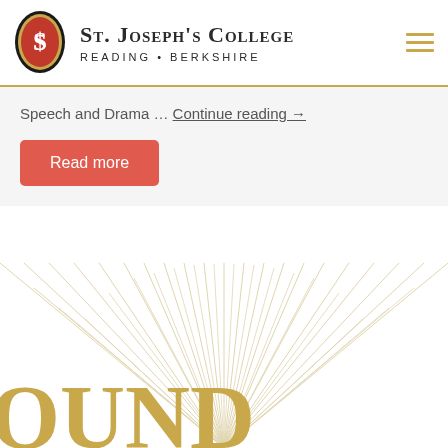[Figure (logo): St. Joseph's College logo: oval shape with black border, gold inner border, red background, white S dollar-sign monogram]
St. Joseph's College Reading • Berkshire
Speech and Drama … Continue reading →
Read more
[Figure (illustration): Decorative sunburst rays emanating from center bottom, gold/tan colored, with large gold text 'OUND' partially visible at the bottom]